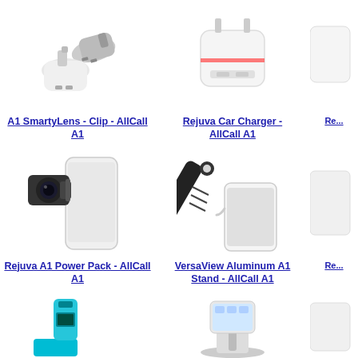[Figure (photo): Two white USB car chargers]
[Figure (photo): White USB wall charger adapter]
[Figure (photo): Partial product image (cut off)]
A1 SmartyLens - Clip - AllCall A1
Rejuva Car Charger - AllCall A1
Re...
[Figure (photo): Clip-on wide angle lens on white iPhone]
[Figure (photo): Black flashlight/power bank with phone]
[Figure (photo): Partial product image (cut off)]
Rejuva A1 Power Pack - AllCall A1
VersaView Aluminum A1 Stand - AllCall A1
Re...
[Figure (photo): Teal/blue power bank charger]
[Figure (photo): Aluminum phone stand with phone]
[Figure (photo): Partial product image (cut off)]